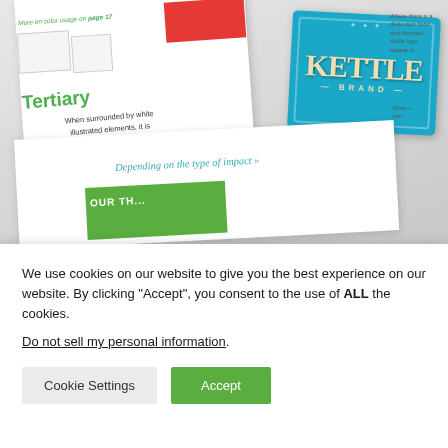[Figure (photo): Two overlapping document/brand guide pages. The top page shows a 'Tertiary' color section with green heading, descriptive text about using Kettle logo in cream color, and a Kettle Brand blue label/badge. The bottom portion shows another page with green bar and italic teal text reading 'Depending on the type of impact'.]
We use cookies on our website to give you the best experience on our website. By clicking “Accept”, you consent to the use of ALL the cookies.
Do not sell my personal information.
Cookie Settings
Accept